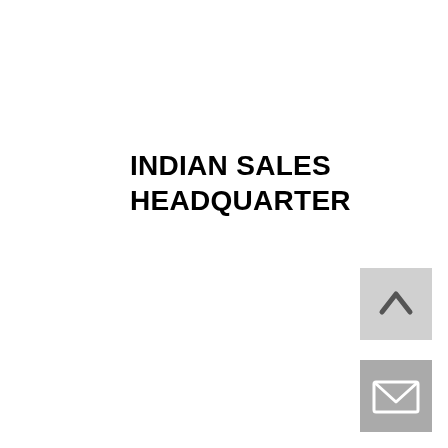INDIAN SALES HEADQUARTER
[Figure (other): Navigation up arrow button — light grey square with a dark upward-pointing chevron icon]
[Figure (other): Email/envelope button — medium grey square with a white envelope icon]